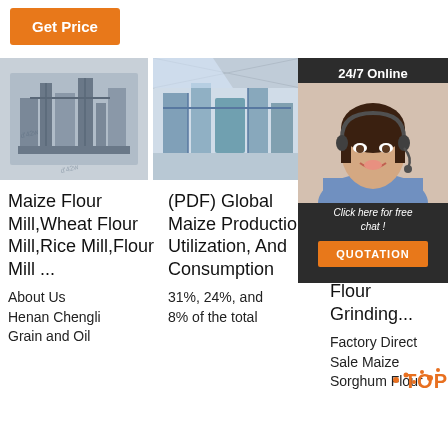Get Price
[Figure (photo): Industrial maize/wheat flour mill machinery, greyscale]
[Figure (photo): Industrial grain milling plant interior with equipment]
[Figure (photo): Customer service agent popup overlay with 24/7 Online label, chat prompt, and QUOTATION button]
Maize Flour Mill,Wheat Flour Mill,Rice Mill,Flour Mill ...
(PDF) Global Maize Production, Utilization, And Consumption
Fa... D... M... S... Flour Grinding...
About Us
Henan Chengli Grain and Oil
31%, 24%, and 8% of the total
Factory Direct Sale Maize Sorghum Flour